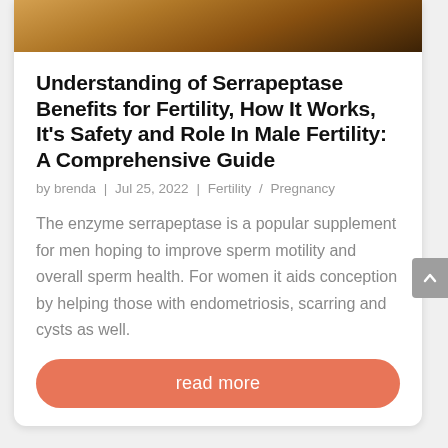[Figure (photo): Close-up photo of a wristwatch with warm golden-brown tones, partially cropped at top of page]
Understanding of Serrapeptase Benefits for Fertility, How It Works, It's Safety and Role In Male Fertility: A Comprehensive Guide
by brenda | Jul 25, 2022 | Fertility / Pregnancy
The enzyme serrapeptase is a popular supplement for men hoping to improve sperm motility and overall sperm health. For women it aids conception by helping those with endometriosis, scarring and cysts as well.
read more